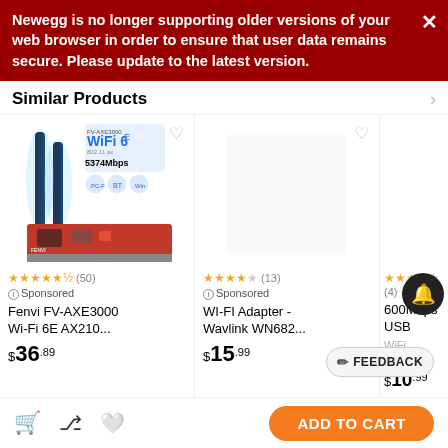Newegg is no longer supporting older versions of your web browser in order to ensure that user data remains secure. Please update to the latest version.
Similar Products
[Figure (photo): Fenvi FV-AXE3000 Wi-Fi 6E PCIe adapter product image showing two tall black antennas and a red PCIe card with WiFi 6 logo and 5374Mbps label]
⭐⭐⭐⭐⭐½ (50)
⊙ Sponsored
Fenvi FV-AXE3000 Wi-Fi 6E AX210...
$36.89
[Figure (photo): Product image area for WI-FI Adapter Wavlink WN682 (empty/not loaded)]
⭐⭐⭐⭐ (13)
⊙ Sponsored
WI-FI Adapter - Wavlink WN682...
$15.99
⭐⭐⭐⭐⭐ (4)
600Mbps USB WiFi Adapter...
$10.99
✏ FEEDBACK